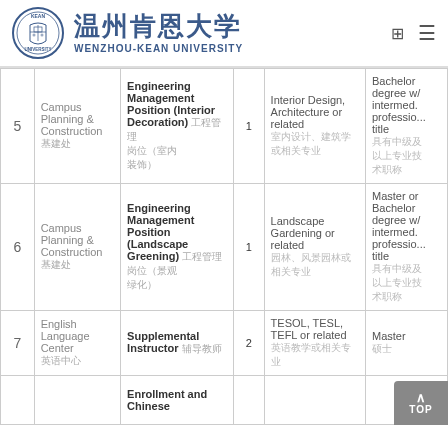温州肯恩大学 WENZHOU-KEAN UNIVERSITY
| No. | Department | Position | Count | Major | Requirements |
| --- | --- | --- | --- | --- | --- |
| 5 | Campus Planning & Construction 基建处 | Engineering Management Position (Interior Decoration) 工程管理岗位（室内装饰） | 1 | Interior Design, Architecture or related 室内设计、建筑学或相关专业 | Bachelor degree w/ intermed. professional title 具有中级及以上专业技术职称 |
| 6 | Campus Planning & Construction 基建处 | Engineering Management Position (Landscape Greening) 工程管理岗位（景观绿化） | 1 | Landscape Gardening or related 园林、风景园林或相关专业 | Master or Bachelor degree w/ intermed. professional title 具有中级及以上专业技术职称 |
| 7 | English Language Center 英语中心 | Supplemental Instructor 辅导教师 | 2 | TESOL, TESL, TEFL or related 英语教学或相关专业 | Master 硕士 |
| 8 |  | Enrollment and Chinese ... |  |  |  |